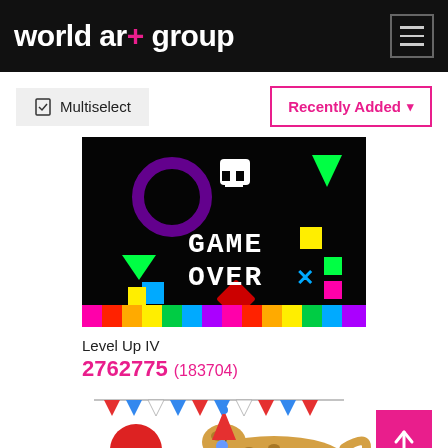world art group
Multiselect
Recently Added
[Figure (screenshot): Game Over pixel art image with colorful geometric shapes on black background and a rainbow pixel bar at bottom]
Level Up IV
2762775 (183704)
[Figure (illustration): Partial view of a leopard with party decorations and bunting, partially visible at bottom of page]